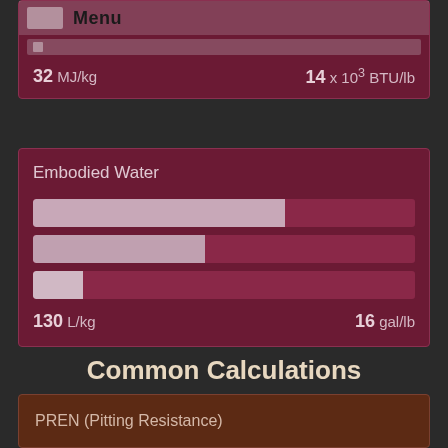[Figure (infographic): Top dark red card with Menu bar, sub-bar, and energy values showing 32 MJ/kg and 14 x 10^3 BTU/lb]
32 MJ/kg
14 x 10³ BTU/lb
Embodied Water
[Figure (bar-chart): Embodied Water]
130 L/kg
16 gal/lb
Common Calculations
PREN (Pitting Resistance)